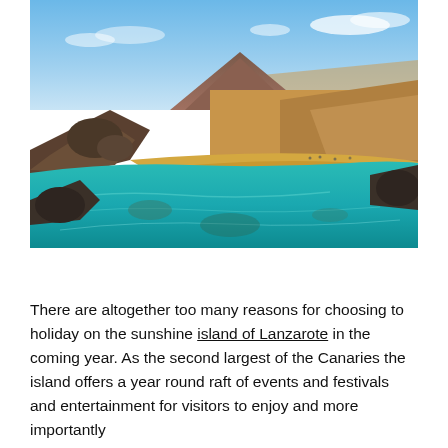[Figure (photo): Aerial view of Lanzarote coastline showing turquoise clear water, a sandy beach, dark volcanic rocks, and arid brown landscape with a mountain in the background under a blue sky with light clouds.]
There are altogether too many reasons for choosing to holiday on the sunshine island of Lanzarote in the coming year. As the second largest of the Canaries the island offers a year round raft of events and festivals and entertainment for visitors to enjoy and more importantly